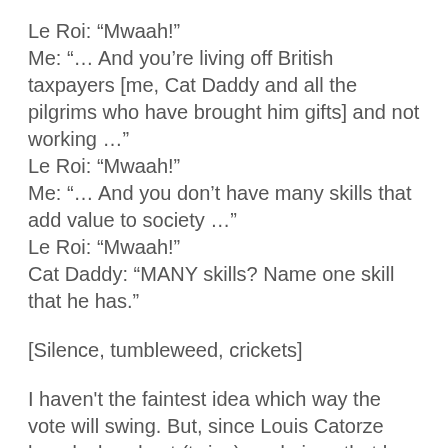Le Roi: “Mwaah!”
Me: “… And you’re living off British taxpayers [me, Cat Daddy and all the pilgrims who have brought him gifts] and not working …”
Le Roi: “Mwaah!”
Me: “… And you don’t have many skills that add value to society …”
Le Roi: “Mwaah!”
Cat Daddy: “MANY skills? Name one skill that he has.”
[Silence, tumbleweed, crickets]
I haven't the faintest idea which way the vote will swing. But, since Louis Catorze has declared out (twice), and given that he is the crappest of the crap when it comes to making predictions, I think the